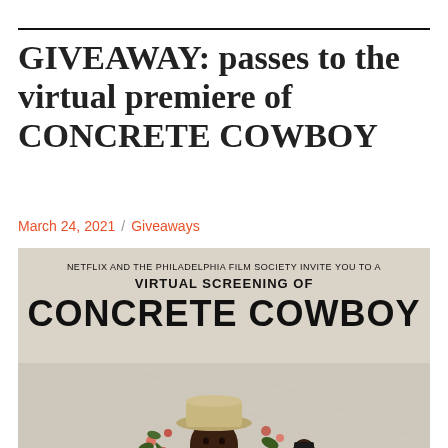GIVEAWAY: passes to the virtual premiere of CONCRETE COWBOY
March 24, 2021 / Giveaways
[Figure (illustration): Movie poster for Concrete Cowboy. Text reads: NETFLIX AND THE PHILADELPHIA FILM SOCIETY INVITE YOU TO A VIRTUAL SCREENING OF CONCRETE COWBOY. Shows a Black man in cowboy hat smiling, with urban Philadelphia imagery and a boy in the background collaged around him, on a light beige/taupe background.]